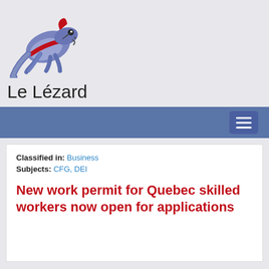[Figure (logo): Le Lézard lizard mascot logo — a blue/purple salamander with a red stripe, illustrated cartoon style]
Le Lézard
Classified in: Business
Subjects: CFG, DEI
New work permit for Quebec skilled workers now open for applications